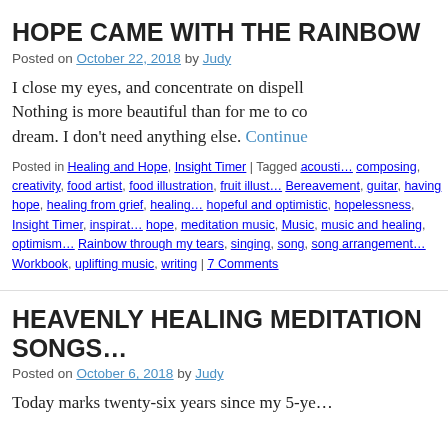HOPE CAME WITH THE RAINBOW
Posted on October 22, 2018 by Judy
I close my eyes, and concentrate on dispell… Nothing is more beautiful than for me to co… dream. I don't need anything else. Continue
Posted in Healing and Hope, Insight Timer | Tagged acousti… composing, creativity, food artist, food illustration, fruit illust… Bereavement, guitar, having hope, healing from grief, healing… hopeful and optimistic, hopelessness, Insight Timer, inspirat… hope, meditation music, Music, music and healing, optimism,… Rainbow through my tears, singing, song, song arrangement… Workbook, uplifting music, writing | 7 Comments
HEAVENLY HEALING MEDITATION SONGS…
Posted on October 6, 2018 by Judy
Today marks twenty-six years since my 5-ye…